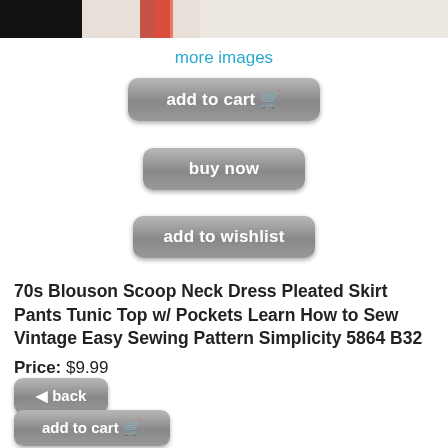[Figure (photo): Top portion of a product image showing figures in red and white clothing against a white/black background]
more images
[Figure (screenshot): Add to cart button]
[Figure (screenshot): Buy now button]
[Figure (screenshot): Add to wishlist button]
70s Blouson Scoop Neck Dress Pleated Skirt Pants Tunic Top w/ Pockets Learn How to Sew Vintage Easy Sewing Pattern Simplicity 5864 B32
Price: $9.99
[Figure (screenshot): Back button]
[Figure (screenshot): Add to cart button (bottom)]
[Figure (screenshot): Buy now button (bottom)]